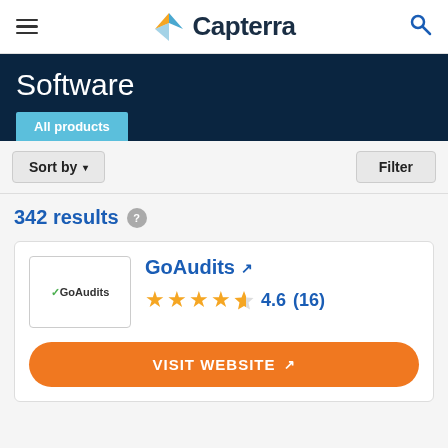Capterra
Software
All products
Sort by  ▾
Filter
342 results
GoAudits  ↗  ★★★★½  4.6  (16)
VISIT WEBSITE ↗